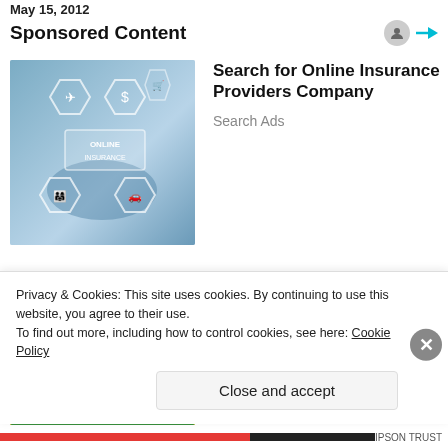May 15, 2012
Sponsored Content
[Figure (illustration): Online Insurance digital graphic showing hexagonal icons for airplane, dollar sign, home, shopping cart, family, car with a person's hand touching a digital interface, text 'ONLINE INSURANCE']
Search for Online Insurance Providers Company
Search Ads
[Figure (photo): Spider-Man movie/game promotional image with yellow background showing 'PIDER-MA' and 'SPIDER-MAN' text in bold red on dark background, with Spider-Man characters below]
iPhone owners are obsessed with this Marvel game
MARVEL Strike Force
Privacy & Cookies: This site uses cookies. By continuing to use this website, you agree to their use.
To find out more, including how to control cookies, see here: Cookie Policy
Close and accept